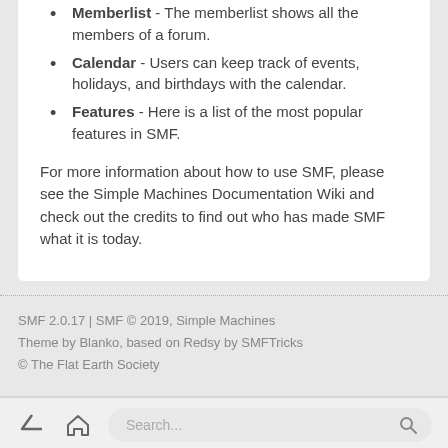Memberlist - The memberlist shows all the members of a forum.
Calendar - Users can keep track of events, holidays, and birthdays with the calendar.
Features - Here is a list of the most popular features in SMF.
For more information about how to use SMF, please see the Simple Machines Documentation Wiki and check out the credits to find out who has made SMF what it is today.
SMF 2.0.17 | SMF © 2019, Simple Machines
Theme by Blanko, based on Redsy by SMFTricks
© The Flat Earth Society